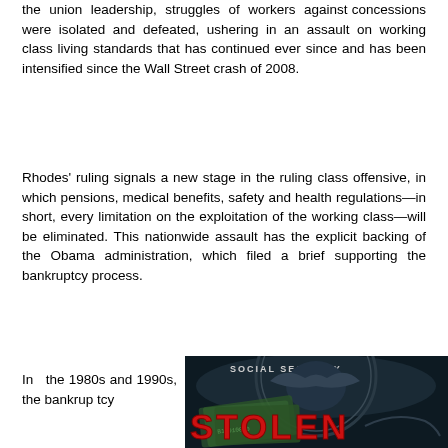the union leadership, struggles of workers against concessions were isolated and defeated, ushering in an assault on working class living standards that has continued ever since and has been intensified since the Wall Street crash of 2008.
Rhodes' ruling signals a new stage in the ruling class offensive, in which pensions, medical benefits, safety and health regulations—in short, every limitation on the exploitation of the working class—will be eliminated. This nationwide assault has the explicit backing of the Obama administration, which filed a brief supporting the bankruptcy process.
In the 1980s and 1990s, the bankruptcy
[Figure (photo): A Social Security medallion/seal with paper money underneath, overlaid with red bold text reading 'STOLEN']